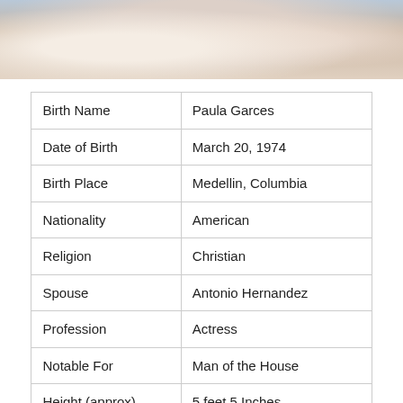[Figure (photo): Photo of a person wearing white clothing, partial view, light background]
| Birth Name | Paula Garces |
| Date of Birth | March 20, 1974 |
| Birth Place | Medellin, Columbia |
| Nationality | American |
| Religion | Christian |
| Spouse | Antonio Hernandez |
| Profession | Actress |
| Notable For | Man of the House |
| Height (approx) | 5 feet 5 Inches |